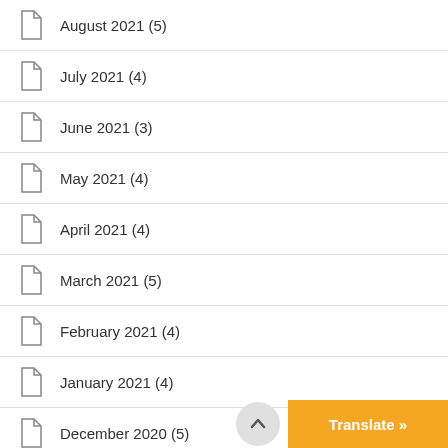August 2021 (5)
July 2021 (4)
June 2021 (3)
May 2021 (4)
April 2021 (4)
March 2021 (5)
February 2021 (4)
January 2021 (4)
December 2020 (5)
November 2020 (4)
October 2020 (4)
September 2020 (4)